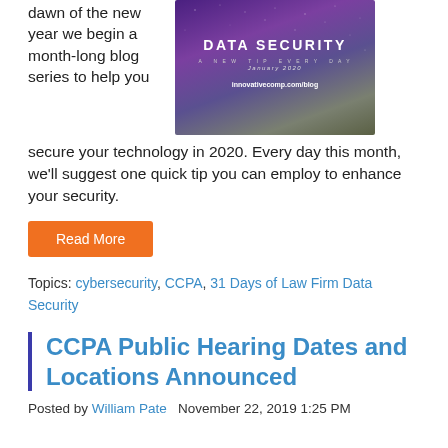dawn of the new year we begin a month-long blog series to help you
[Figure (illustration): Banner image with purple starry night sky background, large bold text 'DATA SECURITY', subtitle 'A NEW TIP EVERY DAY', date 'January 2020', and URL 'innovativecomp.com/blog']
secure your technology in 2020. Every day this month, we'll suggest one quick tip you can employ to enhance your security.
Read More
Topics: cybersecurity, CCPA, 31 Days of Law Firm Data Security
CCPA Public Hearing Dates and Locations Announced
Posted by William Pate   November 22, 2019 1:25 PM